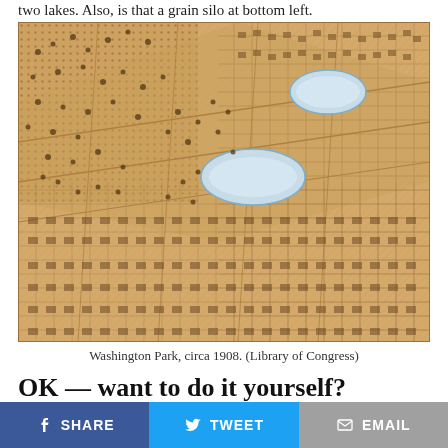two lakes. Also, is that a grain silo at bottom left.
[Figure (map): Bird's-eye view historical map of Washington Park, circa 1908, showing a grid of city blocks with trees, two small lakes visible, and dense urban development. Sepia/tan tones. Library of Congress.]
Washington Park, circa 1908. (Library of Congress)
OK — want to do it yourself?
First, if you've got corrections or requests for
SHARE  TWEET  EMAIL